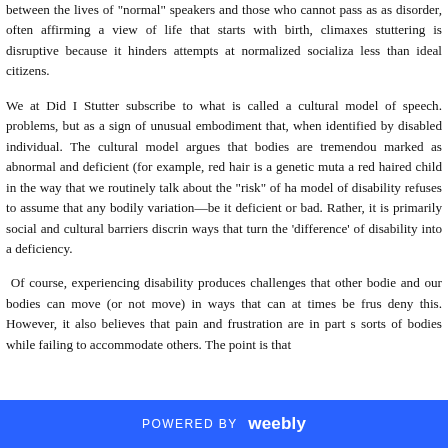between the lives of "normal" speakers and those who cannot pass as disorder, often affirming a view of life that starts with birth, climaxes stuttering is disruptive because it hinders attempts at normalized socializa less than ideal citizens.
We at Did I Stutter subscribe to what is called a cultural model of speech. problems, but as a sign of unusual embodiment that, when identified by disabled individual. The cultural model argues that bodies are tremendou marked as abnormal and deficient (for example, red hair is a genetic muta a red haired child in the way that we routinely talk about the "risk" of ha model of disability refuses to assume that any bodily variation—be it deficient or bad. Rather, it is primarily social and cultural barriers discrin ways that turn the 'difference' of disability into a deficiency.
Of course, experiencing disability produces challenges that other bodie and our bodies can move (or not move) in ways that can at times be frus deny this. However, it also believes that pain and frustration are in part s sorts of bodies while failing to accommodate others. The point is that
POWERED BY weebly